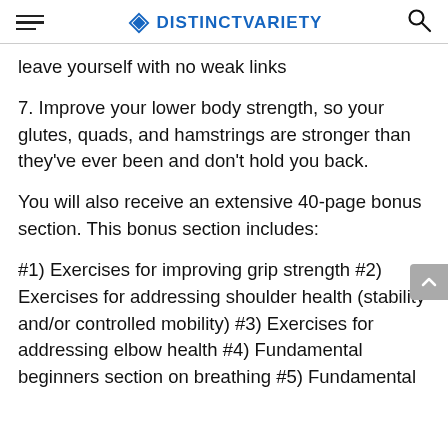DISTINCTVARIETY
leave yourself with no weak links
7. Improve your lower body strength, so your glutes, quads, and hamstrings are stronger than they've ever been and don't hold you back.
You will also receive an extensive 40-page bonus section. This bonus section includes:
#1) Exercises for improving grip strength #2) Exercises for addressing shoulder health (stability and/or controlled mobility) #3) Exercises for addressing elbow health #4) Fundamental beginners section on breathing #5) Fundamental